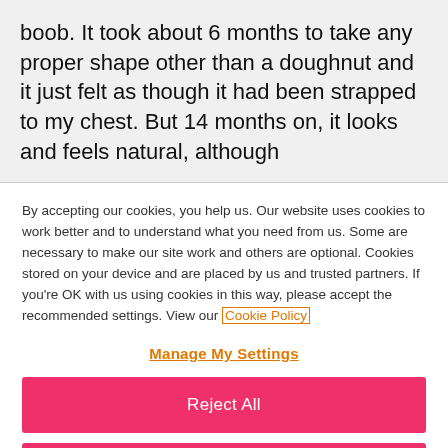boob. It took about 6 months to take any proper shape other than a doughnut and it just felt as though it had been strapped to my chest. But 14 months on, it looks and feels natural, although
By accepting our cookies, you help us. Our website uses cookies to work better and to understand what you need from us. Some are necessary to make our site work and others are optional. Cookies stored on your device and are placed by us and trusted partners. If you're OK with us using cookies in this way, please accept the recommended settings. View our Cookie Policy
Manage My Settings
Reject All
Accept All Cookies